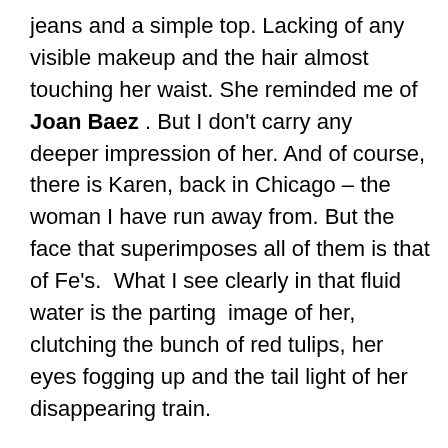jeans and a simple top. Lacking of any visible makeup and the hair almost touching her waist. She reminded me of Joan Baez . But I don't carry any  deeper impression of her. And of course, there is Karen, back in Chicago – the woman I have run away from. But the face that superimposes all of them is that of Fe's.  What I see clearly in that fluid water is the parting  image of her, clutching the bunch of red tulips, her eyes fogging up and the tail light of her disappearing train.

Having spent the whole weekend together, walking around Amsterdam till wee hours of the morning – still feeling weary and sleepy after the late morning breakfast, we are lying sideways on her single bed – talking, almost whispering – sharing with each other and feeling a certain   closeness at our parallel stories of the bruised